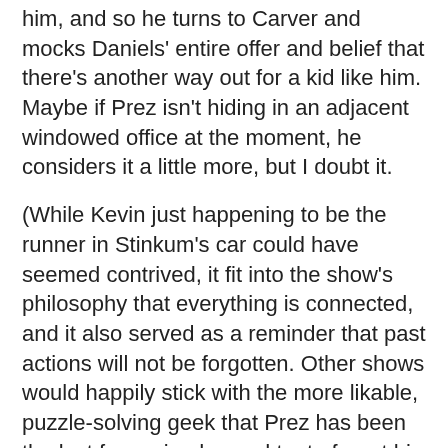him, and so he turns to Carver and mocks Daniels' entire offer and belief that there's another way out for a kid like him. Maybe if Prez isn't hiding in an adjacent windowed office at the moment, he considers it a little more, but I doubt it.
(While Kevin just happening to be the runner in Stinkum's car could have seemed contrived, it fit into the show's philosophy that everything is connected, and it also served as a reminder that past actions will not be forgotten. Other shows would happily stick with the more likable, puzzle-solving geek that Prez has been the last few episodes and try to forget his original sin. Not "The Wire.")
On the other hand, when you expect everyone to play The Game by your rules, you occasionally become vulnerable. Just look at how dangerous Omar has become to the Barksdale crew. They get over by instilling fear into the citizenry and punishing anyone who might speak out against them, but they would never count on someone like Omar -- someone brave and tough enough not to fear them, and well-connected enough to have intel to offer up when someone like Bunk asks -- cooperating with the cops.